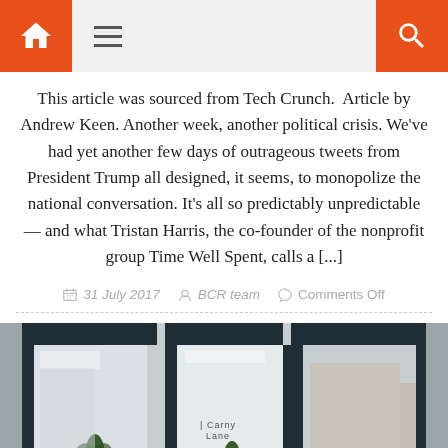[Navigation bar with home icon, hamburger menu, and search icon]
This article was sourced from Tech Crunch.  Article by Andrew Keen. Another week, another political crisis. We've had yet another few days of outrageous tweets from President Trump all designed, it seems, to monopolize the national conversation. It's all so predictably unpredictable — and what Tristan Harris, the co-founder of the nonprofit group Time Well Spent, calls a [...]
31 July 2017   BCR team   Comments Off
[Figure (photo): Exterior storefront of a modern retail shop, possibly Carny Lane, with large glass windows, potted plants, and a person visible inside.]